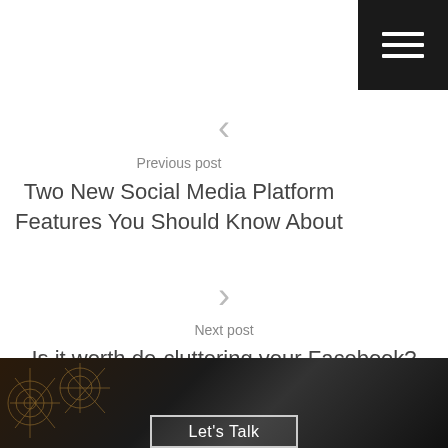[Figure (other): Hamburger menu button — three white horizontal lines on black square background, top-right corner]
< (left chevron arrow, light gray)
Previous post
Two New Social Media Platform Features You Should Know About
> (right chevron arrow, light gray)
Next post
Is it worth de-cluttering your Facebook?
[Figure (photo): Dark blurred background image with geometric star/snowflake pattern on the left side in brown/gold tones, partially visible at bottom of page. A 'Let's Talk' box with white border is visible at the bottom center.]
Let's Talk